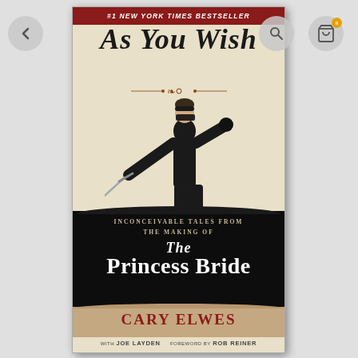[Figure (screenshot): Screenshot of an e-commerce app displaying a book product page for 'As You Wish' by Cary Elwes. Navigation buttons (back arrow, search, cart) visible at top corners. Book cover shown center-right.]
#1 NEW YORK TIMES BESTSELLER
AS YOU WISH
[Figure (illustration): Man dressed in all black with black mask, holding a sword in a fencing pose — the Dread Pirate Roberts / Westley character from The Princess Bride, portrayed by Cary Elwes]
INCONCEIVABLE TALES FROM THE MAKING OF
THE PRINCESS BRIDE
CARY ELWES
WITH JOE LAYDEN   FOREWORD BY ROB REINER